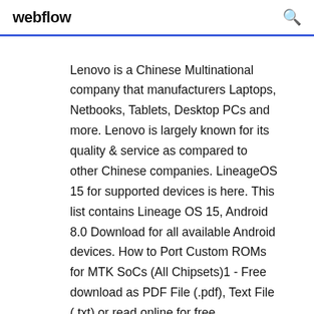webflow
Lenovo is a Chinese Multinational company that manufacturers Laptops, Netbooks, Tablets, Desktop PCs and more. Lenovo is largely known for its quality & service as compared to other Chinese companies. LineageOS 15 for supported devices is here. This list contains Lineage OS 15, Android 8.0 Download for all available Android devices. How to Port Custom ROMs for MTK SoCs (All Chipsets)1 - Free download as PDF File (.pdf), Text File (.txt) or read online for free. pengetahuan flash adalah cara jitu untuk mengatasi berbagai maslh pada android bisanya flash atau software dilakukan jika mengalami kena virus bootlop … Lenovo